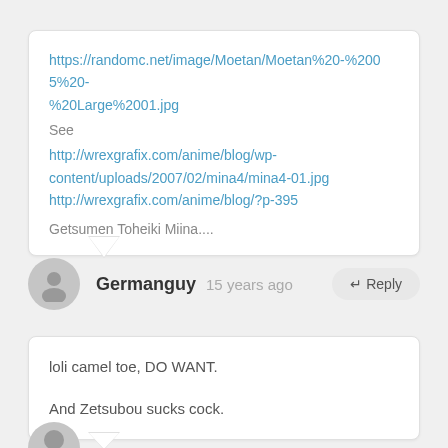https://randomc.net/image/Moetan/Moetan%20-%2005%20-%20%20Large%2001.jpg
See
http://wrexgrafix.com/anime/blog/wp-content/uploads/2007/02/mina4/mina4-01.jpg
http://wrexgrafix.com/anime/blog/?p-395
Getsumen Toheiki Miina....
Germanguy  15 years ago
loli camel toe, DO WANT.

And Zetsubou sucks cock.